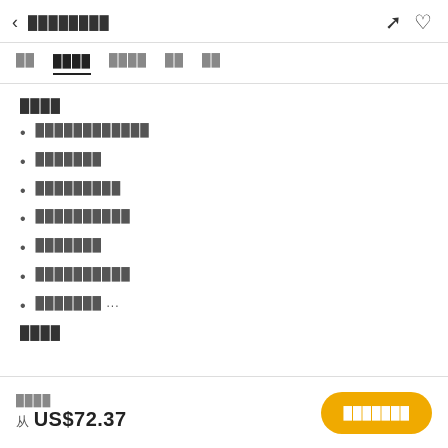< ████████
██ ████████ ████████ ██ ██
████
████████████
███████
█████████
██████████
███████
██████████
███████ ...
████
████ 从 US$72.37 ███████